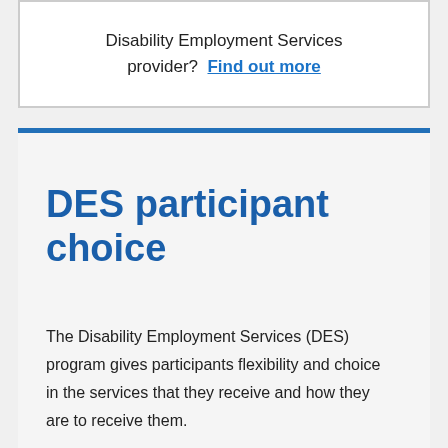Disability Employment Services provider?  Find out more
DES participant choice
The Disability Employment Services (DES) program gives participants flexibility and choice in the services that they receive and how they are to receive them.
Participants can choose their preferred provider when they first enter the program. At their initial Centrelink appointment, DES participants will